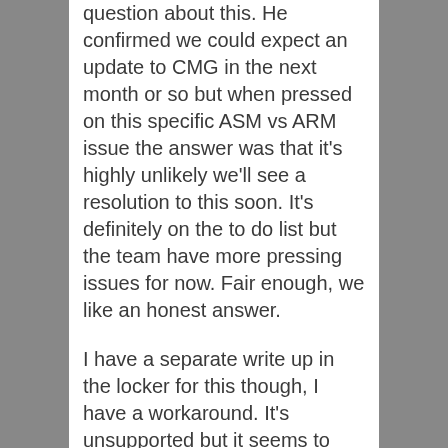question about this. He confirmed we could expect an update to CMG in the next month or so but when pressed on this specific ASM vs ARM issue the answer was that it's highly unlikely we'll see a resolution to this soon. It's definitely on the to do list but the team have more pressing issues for now. Fair enough, we like an honest answer.
I have a separate write up in the locker for this though, I have a workaround. It's unsupported but it seems to work. Look out for that post.
In the mean time, there's only one thing for it – vote up the uservoice link above!